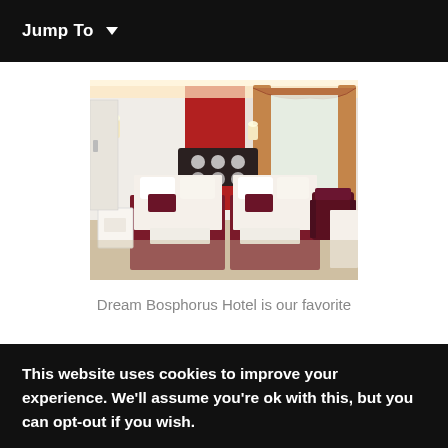Jump To
[Figure (photo): Hotel room interior showing twin beds with dark red/maroon accents and white bedding, red accent wall, ornate curtains, and elegant furniture at Dream Bosphorus Hotel]
Dream Bosphorus Hotel is our favorite
This website uses cookies to improve your experience. We'll assume you're ok with this, but you can opt-out if you wish.